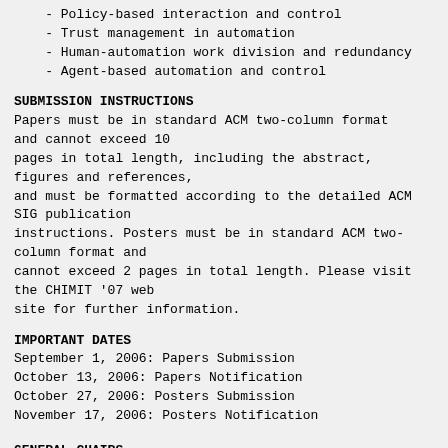- Policy-based interaction and control
- Trust management in automation
- Human-automation work division and redundancy
- Agent-based automation and control
SUBMISSION INSTRUCTIONS
Papers must be in standard ACM two-column format and cannot exceed 10 pages in total length, including the abstract, figures and references, and must be formatted according to the detailed ACM SIG publication instructions. Posters must be in standard ACM two-column format and cannot exceed 2 pages in total length. Please visit the CHIMIT '07 web site for further information.
IMPORTANT DATES
September 1, 2006: Papers Submission
October 13, 2006: Papers Notification
October 27, 2006: Posters Submission
November 17, 2006: Posters Notification
GENERAL CHAIRS
PROGRAM CHAIRS
Alva Couch, Tufts
Patricia Jones, NASA Ames